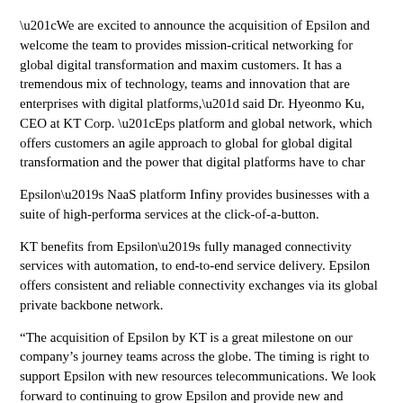“We are excited to announce the acquisition of Epsilon and welcome the team to provides mission-critical networking for global digital transformation and maxim customers. It has a tremendous mix of technology, teams and innovation that are enterprises with digital platforms,” said Dr. Hyeonmo Ku, CEO at KT Corp. “Eps platform and global network, which offers customers an agile approach to global for global digital transformation and the power that digital platforms have to char
Epsilon’s NaaS platform Infiny provides businesses with a suite of high-performa services at the click-of-a-button.
KT benefits from Epsilon’s fully managed connectivity services with automation, to end-to-end service delivery. Epsilon offers consistent and reliable connectivity exchanges via its global private backbone network.
“The acquisition of Epsilon by KT is a great milestone on our company’s journey teams across the globe. The timing is right to support Epsilon with new resources telecommunications. We look forward to continuing to grow Epsilon and provide new and existing customers across the globe,” said Michel Robert, Chief Executi “The acquisition is a logical next step for both businesses and a fantastic opportu teams.”